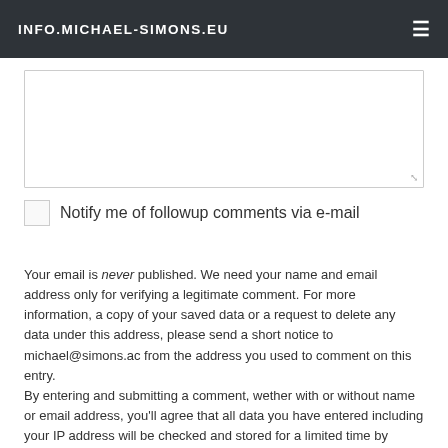INFO.MICHAEL-SIMONS.EU
[Figure (screenshot): Textarea input field for comment, partially visible]
Notify me of followup comments via e-mail
Your email is never published. We need your name and email address only for verifying a legitimate comment. For more information, a copy of your saved data or a request to delete any data under this address, please send a short notice to michael@simons.ac from the address you used to comment on this entry.
By entering and submitting a comment, wether with or without name or email address, you'll agree that all data you have entered including your IP address will be checked and stored for a limited time by Automattic Inc., 60 29th Street #343, San Francisco, CA